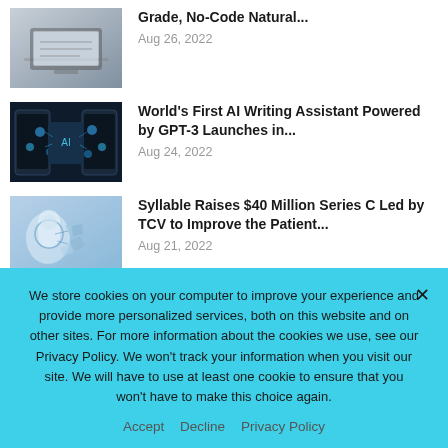[Figure (photo): Thumbnail image of person using laptop]
Grade, No-Code Natural...
Aug 26, 2022
[Figure (photo): Thumbnail image of AI/phone technology with digital icons]
World’s First AI Writing Assistant Powered by GPT-3 Launches in...
Aug 24, 2022
[Figure (photo): Thumbnail image of healthcare/patient digital icons]
Syllable Raises $40 Million Series C Led by TCV to Improve the Patient...
Aug 21, 2022
< PREV  NEXT >  1 of 227
We store cookies on your computer to improve your experience and provide more personalized services, both on this website and on other sites. For more information about the cookies we use, see our Privacy Policy. We won’t track your information when you visit our site. We will have to use at least one cookie to ensure that you won’t have to make this choice again.
Accept  Decline  Privacy Policy